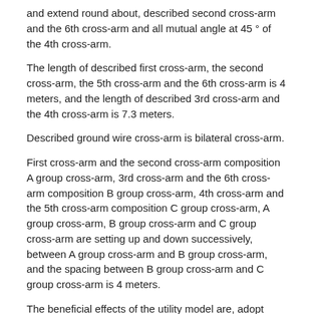and extend round about, described second cross-arm and the 6th cross-arm and all mutual angle at 45 ° of the 4th cross-arm.
The length of described first cross-arm, the second cross-arm, the 5th cross-arm and the 6th cross-arm is 4 meters, and the length of described 3rd cross-arm and the 4th cross-arm is 7.3 meters.
Described ground wire cross-arm is bilateral cross-arm.
First cross-arm and the second cross-arm composition A group cross-arm, 3rd cross-arm and the 6th cross-arm composition B group cross-arm, 4th cross-arm and the 5th cross-arm composition C group cross-arm, A group cross-arm, B group cross-arm and C group cross-arm are setting up and down successively, between A group cross-arm and B group cross-arm, and the spacing between B group cross-arm and C group cross-arm is 4 meters.
The beneficial effects of the utility model are, adopt double back of the present utility model to become single time steel pipe pole, wire are become to the transmission line of electricity of triangle arrangement, can directly carry out π